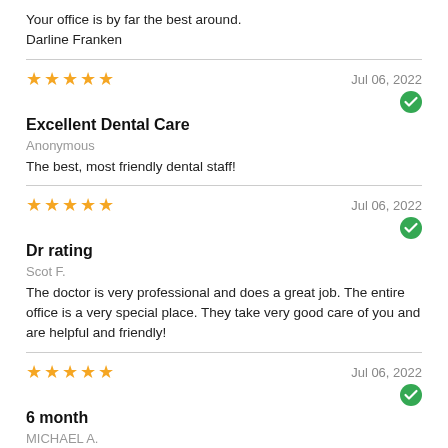Your office is by far the best around.
Darline Franken
★★★★★  Jul 06, 2022
Excellent Dental Care
Anonymous
The best, most friendly dental staff!
★★★★★  Jul 06, 2022
Dr rating
Scot F.
The doctor is very professional and does a great job. The entire office is a very special place. They take very good care of you and are helpful and friendly!
★★★★★  Jul 06, 2022
6 month
MICHAEL A.
Kristin is always spot on and nice every time ! Hygienist ( sorry name??) is always very detailed and takes her time. Met both doctors now and they are